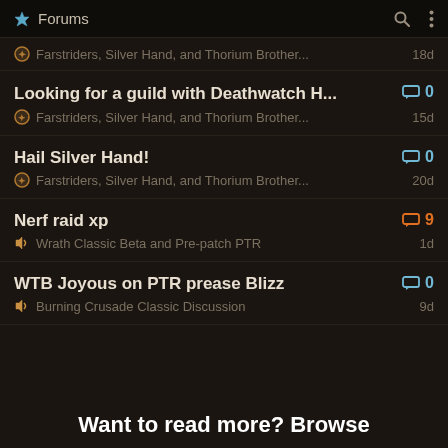Forums
Farstriders, Silver Hand, and Thorium Brother...  18d
Looking for a guild with Deathwatch H...  0 comments  Farstriders, Silver Hand, and Thorium Brother...  15d
Hail Silver Hand!  0 comments  Farstriders, Silver Hand, and Thorium Brother...  20d
Nerf raid xp  9 comments  Wrath Classic Beta and Pre-patch PTR  1d
WTB Joyous on PTR prease Blizz  0 comments  Burning Crusade Classic Discussion  9d
Want to read more? Browse